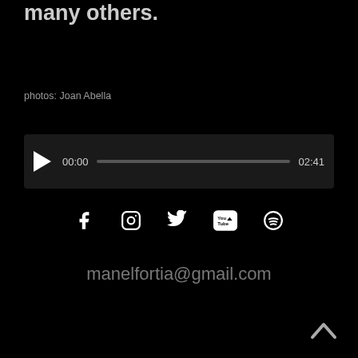many others.
photos: Joan Abella
[Figure (other): Audio player with play button, progress bar, time 00:00 and duration 02:41]
[Figure (other): Social media icons: Facebook, Instagram, Twitter, YouTube, Spotify]
manelfortia@gmail.com
[Figure (other): Back to top chevron arrow icon]